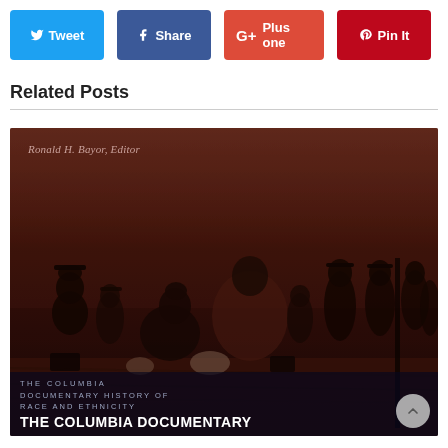[Figure (infographic): Social sharing buttons: Tweet (Twitter, blue), Share (Facebook, dark blue), Plus one (Google+, red-orange), Pin It (Pinterest, red)]
Related Posts
[Figure (photo): Book cover image: 'The Columbia Documentary History of Race and Ethnicity' edited by Ronald H. Bayor. Sepia-toned photograph of immigrants on a dock/ship with luggage. Bottom overlay shows 'THE COLUMBIA DOCUMENTARY HISTORY OF RACE AND ETHNICITY' in light text and 'THE COLUMBIA DOCUMENTARY' in bold white text.]